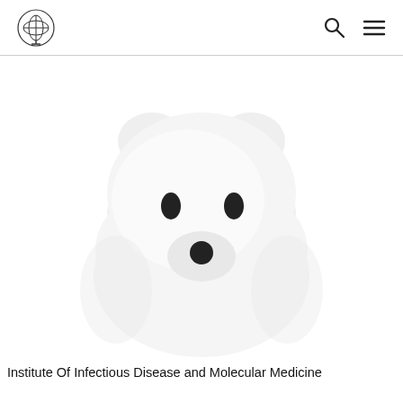[Logo] [Search icon] [Menu icon]
[Figure (photo): A white silicone lamp or figurine shaped like a cute cartoon bear/dog face with two small dark oval eyes and a round dark nose, sitting on a dark circular base. The object is photographed against a white background.]
Institute Of Infectious Disease and Molecular Medicine